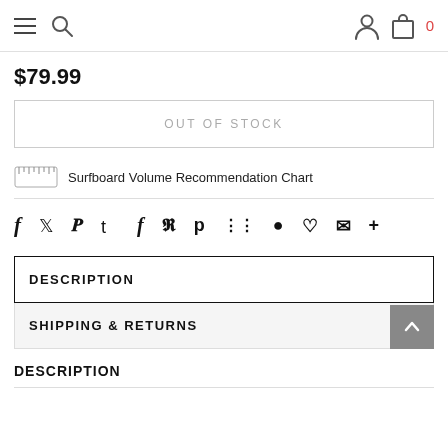[Figure (screenshot): Navigation bar with hamburger menu, search icon, user icon, bag icon with 0 count]
$79.99
OUT OF STOCK
Surfboard Volume Recommendation Chart
f ♥ p ⊞ ♟ ♡ ✉ +
DESCRIPTION
SHIPPING & RETURNS
DESCRIPTION